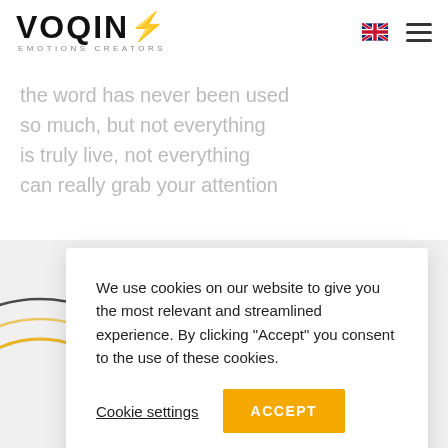[Figure (logo): VOQIN' EMOTIONS CREATORS logo with yellow lightning bolt]
the word has never been used
so much, but not everything
is truly live, not everything
can really grab your attention
We use cookies on our website to give you the most relevant and streamlined experience. By clicking "Accept" you consent to the use of these cookies.
Cookie settings
ACCEPT
TRACKING